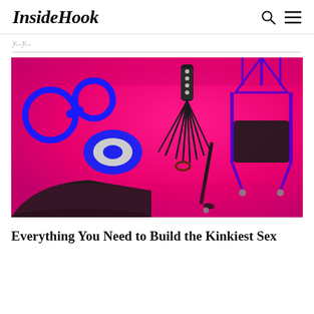InsideHook
...y...y...
[Figure (photo): Product flatlay on hot pink/magenta gradient background showing BDSM/kink accessories: blue bondage restraint cuffs, blue bondage tape roll, black leather flogger whip, black riding crop, black positioning wedge cushion, and a purple sex swing with black fabric seat.]
Everything You Need to Build the Kinkiest Sex